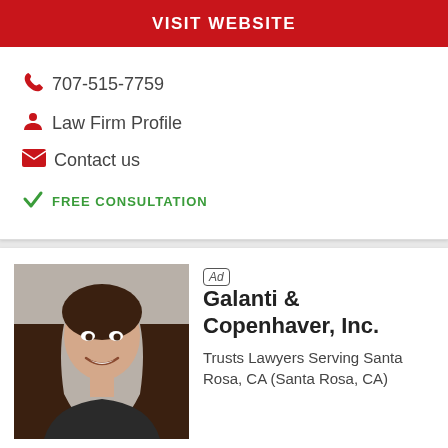VISIT WEBSITE
707-515-7759
Law Firm Profile
Contact us
FREE CONSULTATION
[Figure (photo): Professional headshot of a woman with dark hair, smiling, wearing dark clothing]
Ad  Galanti & Copenhaver, Inc.
Trusts Lawyers Serving Santa Rosa, CA (Santa Rosa, CA)
Put your TRUST in US!
Past client? Leave a review.
1  Super Lawyers®